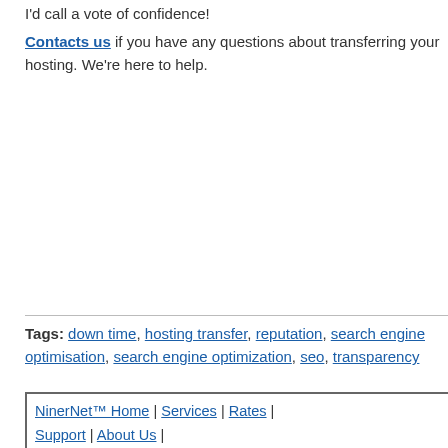Contacts us if you have any questions about transferring your hosting. We're here to help.
Tags: down time, hosting transfer, reputation, search engine optimisation, search engine optimization, seo, transparency
Categories: Interest
Comments Off on How NOT to transfer your hosting
NinerNet™ Home | Services | Rates | Support | About Us | Contact NinerNet™ | Legal